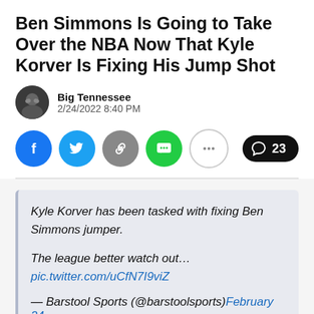Ben Simmons Is Going to Take Over the NBA Now That Kyle Korver Is Fixing His Jump Shot
Big Tennessee
2/24/2022 8:40 PM
[Figure (infographic): Social share buttons: Facebook, Twitter, link, SMS, more options, and a comment button showing 23 comments]
Kyle Korver has been tasked with fixing Ben Simmons jumper.

The league better watch out…
pic.twitter.com/uCfN7I9viZ

— Barstool Sports (@barstoolsports) February 24, 2022